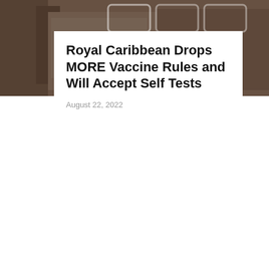[Figure (photo): Background photo of a street scene with buildings, partially obscured by dark overlay, showing neon sign outlines at the top]
Royal Caribbean Drops MORE Vaccine Rules and Will Accept Self Tests
August 22, 2022